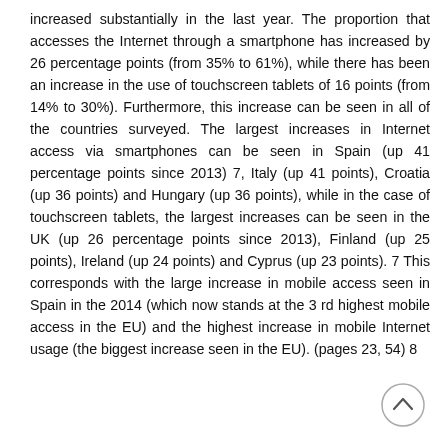increased substantially in the last year. The proportion that accesses the Internet through a smartphone has increased by 26 percentage points (from 35% to 61%), while there has been an increase in the use of touchscreen tablets of 16 points (from 14% to 30%). Furthermore, this increase can be seen in all of the countries surveyed. The largest increases in Internet access via smartphones can be seen in Spain (up 41 percentage points since 2013) 7, Italy (up 41 points), Croatia (up 36 points) and Hungary (up 36 points), while in the case of touchscreen tablets, the largest increases can be seen in the UK (up 26 percentage points since 2013), Finland (up 25 points), Ireland (up 24 points) and Cyprus (up 23 points). 7 This corresponds with the large increase in mobile access seen in Spain in the 2014 (which now stands at the 3 rd highest mobile access in the EU) and the highest increase in mobile Internet usage (the biggest increase seen in the EU). (pages 23, 54) 8
[Figure (other): A circular scroll-to-top button with an upward chevron arrow icon, positioned at the bottom right of the page.]